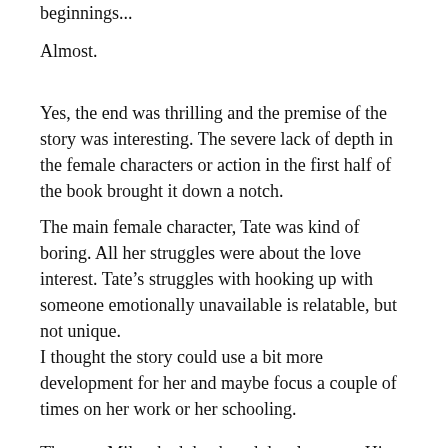beginnings...
Almost.
Yes, the end was thrilling and the premise of the story was interesting. The severe lack of depth in the female characters or action in the first half of the book brought it down a notch.
The main female character, Tate was kind of boring. All her struggles were about the love interest. Tate's struggles with hooking up with someone emotionally unavailable is relatable, but not unique.
I thought the story could use a bit more development for her and maybe focus a couple of times on her work or her schooling.
The guy, Miles, had depth and development. His